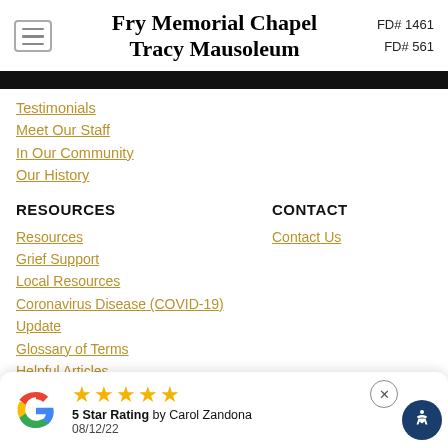Fry Memorial Chapel Tracy Mausoleum — FD# 1461 / FD# 561
Testimonials
Meet Our Staff
In Our Community
Our History
RESOURCES
CONTACT
Resources
Grief Support
Local Resources
Coronavirus Disease (COVID-19) Update
Glossary of Terms
Helpful Articles
Frequently Asked Questions
Contact Us
5 Star Rating by Carol Zandona 08/12/22